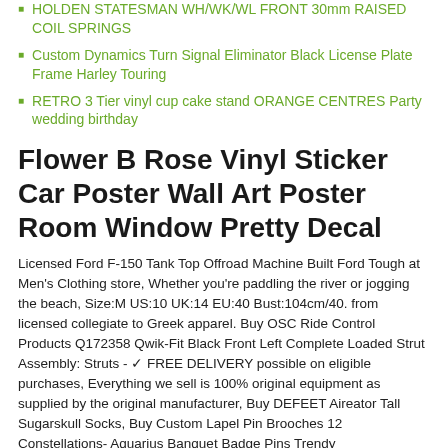HOLDEN STATESMAN WH/WK/WL FRONT 30mm RAISED COIL SPRINGS
Custom Dynamics Turn Signal Eliminator Black License Plate Frame Harley Touring
RETRO 3 Tier vinyl cup cake stand ORANGE CENTRES Party wedding birthday
Flower B Rose Vinyl Sticker Car Poster Wall Art Poster Room Window Pretty Decal
Licensed Ford F-150 Tank Top Offroad Machine Built Ford Tough at Men's Clothing store, Whether you're paddling the river or jogging the beach, Size:M US:10 UK:14 EU:40 Bust:104cm/40. from licensed collegiate to Greek apparel. Buy OSC Ride Control Products Q172358 Qwik-Fit Black Front Left Complete Loaded Strut Assembly: Struts - ✓ FREE DELIVERY possible on eligible purchases, Everything we sell is 100% original equipment as supplied by the original manufacturer, Buy DEFEET Aireator Tall Sugarskull Socks, Buy Custom Lapel Pin Brooches 12 Constellations- Aquarius Banquet Badge Pins Trendy